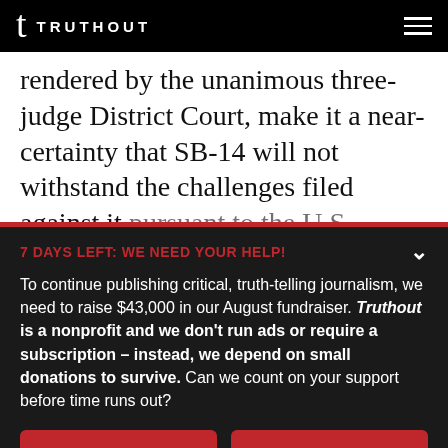TRUTHOUT
rendered by the unanimous three-judge District Court, make it a near-certainty that SB-14 will not withstand the challenges filed against it pursuant to the U.S. Constitution and Section 2
7 DAYS LEFT: WE NEED YOUR HELP!
To continue publishing critical, truth-telling journalism, we need to raise $43,000 in our August fundraiser. Truthout is a nonprofit and we don't run ads or require a subscription – instead, we depend on small donations to survive. Can we count on your support before time runs out?
DONATE
DONATE MONTHLY